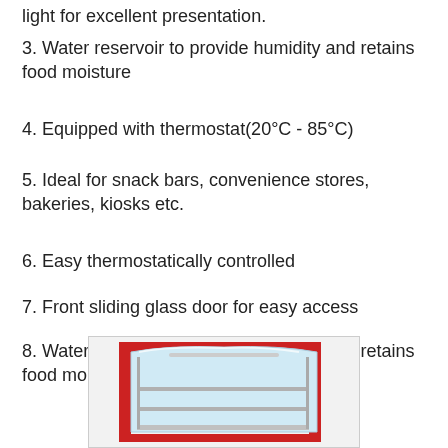light for excellent presentation.
3. Water reservoir to provide humidity and retains food moisture
4. Equipped with thermostat(20°C - 85°C)
5. Ideal for snack bars, convenience stores, bakeries, kiosks etc.
6. Easy thermostatically controlled
7. Front sliding glass door for easy access
8. Water reservoir to provide humidity and retains food moisture
[Figure (photo): Food warmer display case with curved glass front and red frame, showing internal shelves]